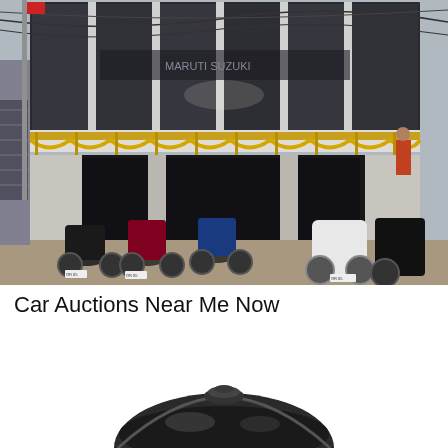[Figure (photo): Exterior of a Maruti Suzuki dealership showroom with motorcycles and scooters parked in front. The two-storey building has glass facade with decorative golden garland railing on the upper level balcony.]
Car Auctions Near Me Now
[Figure (photo): Partial view of a dark-colored round object, likely a vehicle part or lid, against a white background.]